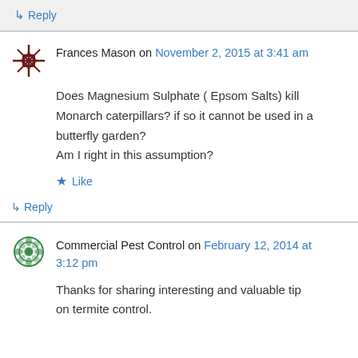↳ Reply
Frances Mason on November 2, 2015 at 3:41 am
Does Magnesium Sulphate ( Epsom Salts) kill Monarch caterpillars? if so it cannot be used in a butterfly garden?
Am I right in this assumption?
★ Like
↳ Reply
Commercial Pest Control on February 12, 2014 at 3:12 pm
Thanks for sharing interesting and valuable tip on termite control.